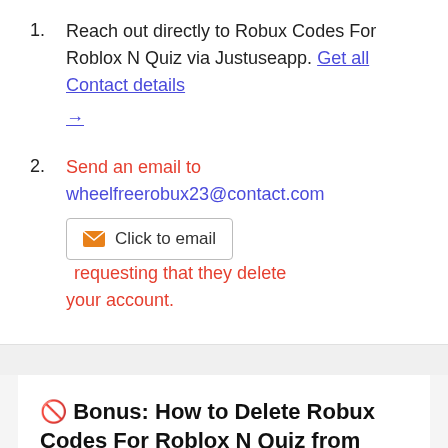1. Reach out directly to Robux Codes For Roblox N Quiz via Justuseapp. Get all Contact details →
2. Send an email to wheelfreerobux23@contact.com [Click to email] requesting that they delete your account.
🚫 Bonus: How to Delete Robux Codes For Roblox N Quiz from your iPhone or Android.